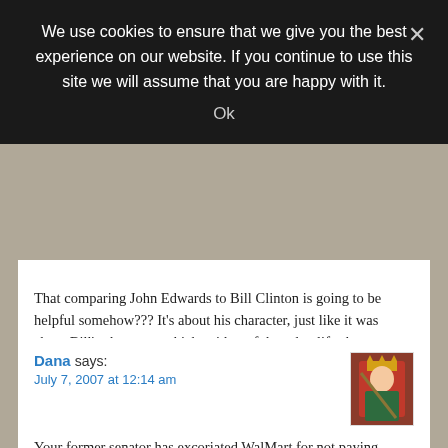We use cookies to ensure that we give you the best experience on our website. If you continue to use this site we will assume that you are happy with it.
Ok
That comparing John Edwards to Bill Clinton is going to be helpful somehow??? It's about his character, just like it was about Bill's character, which neither of these lowlifes have any. – Lorica
Dana says:
July 7, 2007 at 12:14 am
Your former senator has excoriated WalMart for not paying people enough, yet he spent about a month's gross wages for a WalMart floor employee to fly his hairdresser (a